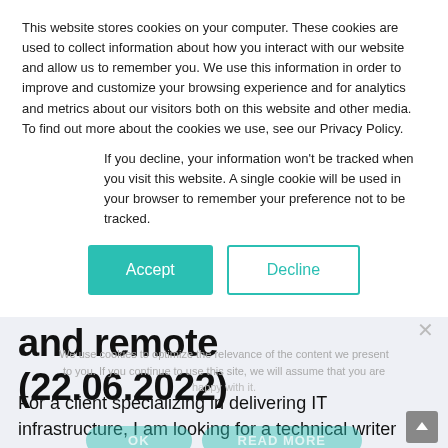This website stores cookies on your computer. These cookies are used to collect information about how you interact with our website and allow us to remember you. We use this information in order to improve and customize your browsing experience and for analytics and metrics about our visitors both on this website and other media. To find out more about the cookies we use, see our Privacy Policy.
If you decline, your information won't be tracked when you visit this website. A single cookie will be used in your browser to remember your preference not to be tracked.
[Figure (screenshot): Two buttons: a teal filled 'Accept' button and a teal outlined 'Decline' button]
and remote (22.06.2022)
We use cookies to optimize the relevance of the content we present to you. If you continue to use this site, we will assume that you are happy with it.
For a client specializing in delivering IT infrastructure, I am looking for a technical writer who loves to create clear and precise technical documentation and SOP's for a wide range of areas.